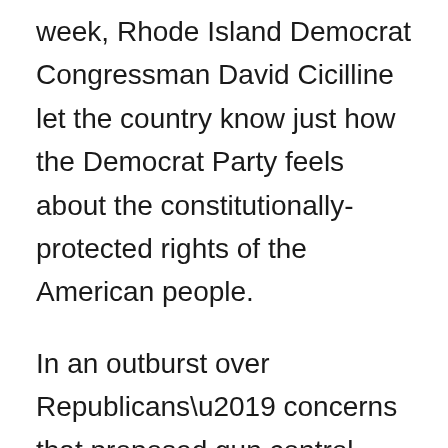week, Rhode Island Democrat Congressman David Cicilline let the country know just how the Democrat Party feels about the constitutionally-protected rights of the American people.
In an outburst over Republicans' concerns that proposed gun control legislation would violate the due process rights of American citizens and their right to keep and bear arms, a performatively angry Cicilline said the victims of shootings didn't have their “constitutional right to life respected,” adding “so spare me the bullshit about constitutional rights.”